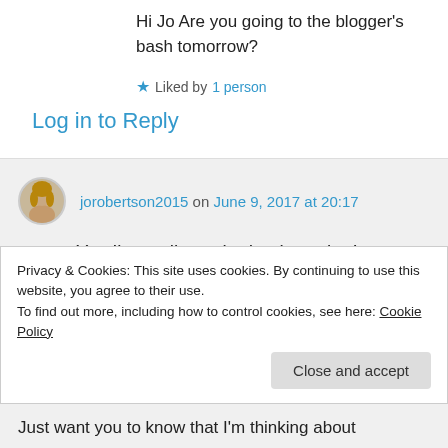Hi Jo Are you going to the blogger’s bash tomorrow?
★ Liked by 1 person
Log in to Reply
jorobertson2015 on June 9, 2017 at 20:17
Yes I’m really excited to be going!
★ Like
Privacy & Cookies: This site uses cookies. By continuing to use this website, you agree to their use. To find out more, including how to control cookies, see here: Cookie Policy
Close and accept
Just want you to know that I’m thinking about